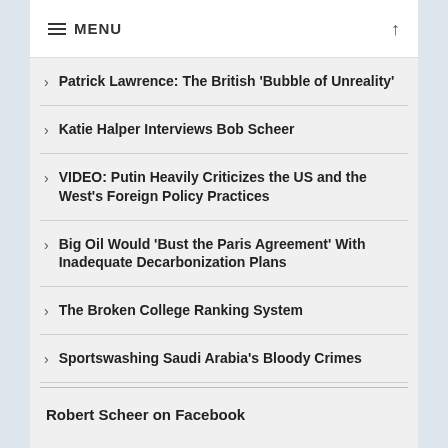MENU
Patrick Lawrence: The British 'Bubble of Unreality'
Katie Halper Interviews Bob Scheer
VIDEO: Putin Heavily Criticizes the US and the West's Foreign Policy Practices
Big Oil Would 'Bust the Paris Agreement' With Inadequate Decarbonization Plans
The Broken College Ranking System
Sportswashing Saudi Arabia's Bloody Crimes
Robert Scheer on Facebook